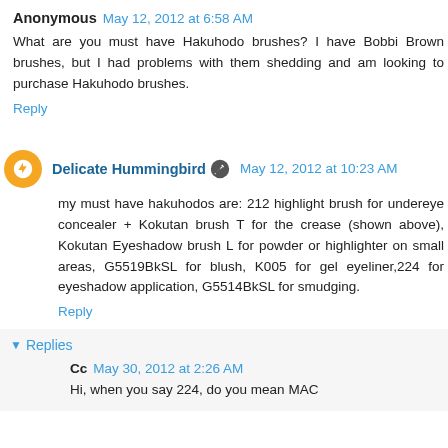Anonymous  May 12, 2012 at 6:58 AM
What are you must have Hakuhodo brushes? I have Bobbi Brown brushes, but I had problems with them shedding and am looking to purchase Hakuhodo brushes.
Reply
Delicate Hummingbird  May 12, 2012 at 10:23 AM
my must have hakuhodos are: 212 highlight brush for undereye concealer + Kokutan brush T for the crease (shown above), Kokutan Eyeshadow brush L for powder or highlighter on small areas, G5519BkSL for blush, K005 for gel eyeliner,224 for eyeshadow application, G5514BkSL for smudging.
Reply
Replies
Cc  May 30, 2012 at 2:26 AM
Hi, when you say 224, do you mean MAC